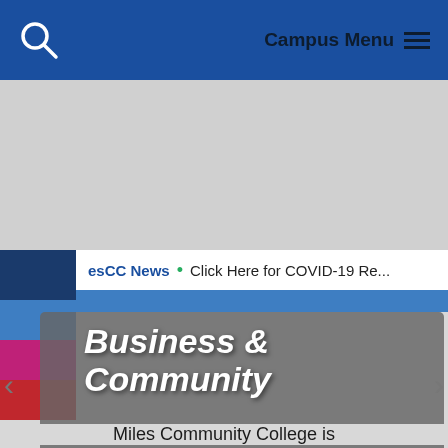Campus Menu
esCC News • Click Here for COVID-19 Re...
Business & Community
Miles Community College is